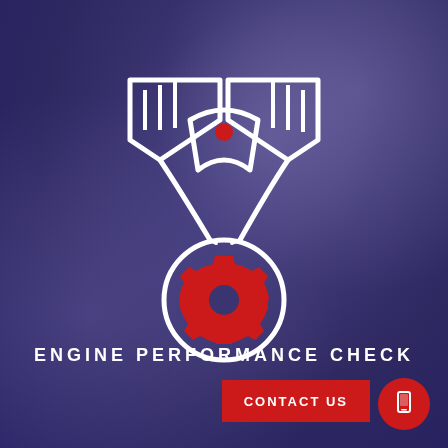[Figure (illustration): Engine icon with two pistons forming a V-shape, a connecting rod with a red dot at top, and a red gear/cog wheel at the bottom center, all drawn as white line art on a dark purple blurred background]
ENGINE PERFORMANCE CHECK
CONTACT US